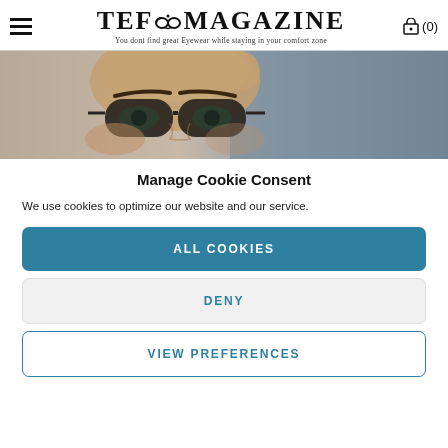TEF MAGAZINE — You dont find great Eyewear while staying in your comfort zone
[Figure (photo): Close-up photo of a person's eyes wearing dark round eyeglasses, with a gradient background from warm skin tones to cool grey-blue.]
Manage Cookie Consent
We use cookies to optimize our website and our service.
ALL COOKIES
DENY
VIEW PREFERENCES